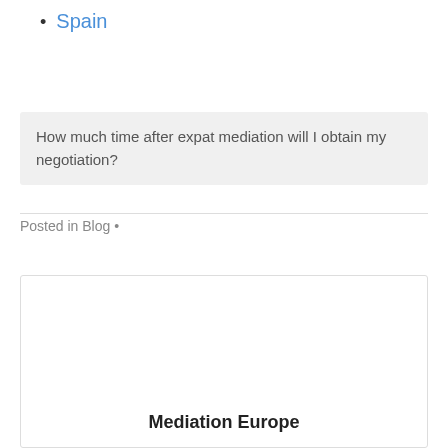Spain
How much time after expat mediation will I obtain my negotiation?
Posted in Blog •
Mediation Europe